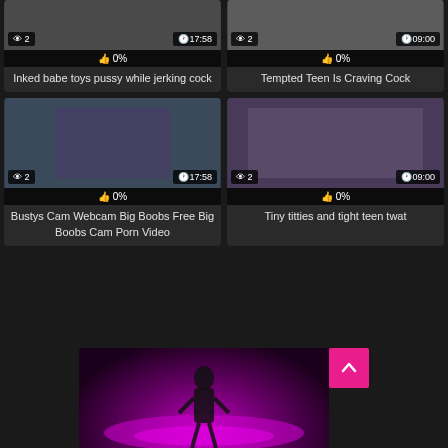[Figure (screenshot): Video thumbnail grid showing adult content website with 4 video cards and an advertisement banner at the bottom]
Inked babe toys pussy while jerking cock
Tempted Teen Is Craving Cock
Bustys Cam Webcam Big Boobs Free Big Boobs Cam Porn Video
Tiny titties and tight teen twat